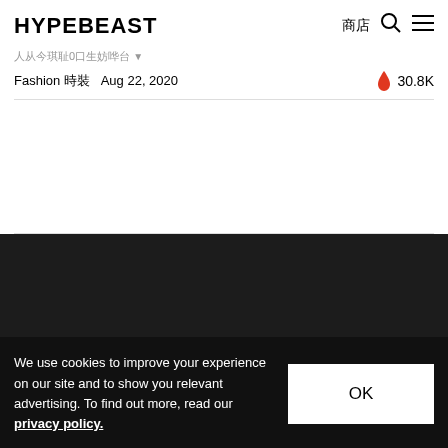HYPEBEAST 商店 🔍 ☰
人从今琪耻0口生妨哗台
Fashion 時裝  Aug 22, 2020  🔥 30.8K
[Figure (photo): Dark/black content area below article metadata, appears to be an article image placeholder or partially loaded image]
We use cookies to improve your experience on our site and to show you relevant advertising. To find out more, read our privacy policy.